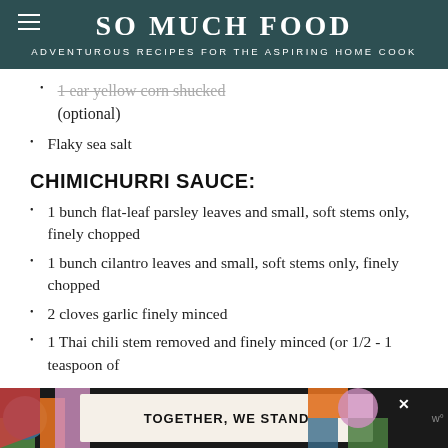SO MUCH FOOD
ADVENTUROUS RECIPES FOR THE ASPIRING HOME COOK
1 ear yellow corn shucked (optional)
Flaky sea salt
CHIMICHURRI SAUCE:
1 bunch flat-leaf parsley leaves and small, soft stems only, finely chopped
1 bunch cilantro leaves and small, soft stems only, finely chopped
2 cloves garlic finely minced
1 Thai chili stem removed and finely minced (or 1/2 - 1 teaspoon of
[Figure (infographic): Advertisement banner at bottom: colorful graphic with 'TOGETHER, WE STAND' text on cream background with decorative colored shapes on either side]